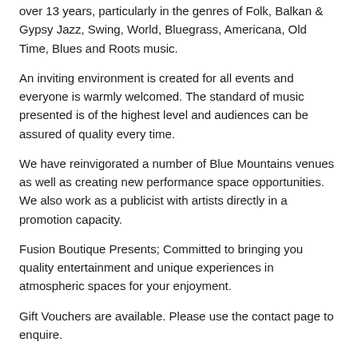over 13 years, particularly in the genres of Folk, Balkan & Gypsy Jazz, Swing, World, Bluegrass, Americana, Old Time, Blues and Roots music.
An inviting environment is created for all events and everyone is warmly welcomed. The standard of music presented is of the highest level and audiences can be assured of quality every time.
We have reinvigorated a number of Blue Mountains venues as well as creating new performance space opportunities. We also work as a publicist with artists directly in a promotion capacity.
Fusion Boutique Presents; Committed to bringing you quality entertainment and unique experiences in atmospheric spaces for your enjoyment.
Gift Vouchers are available. Please use the contact page to enquire.